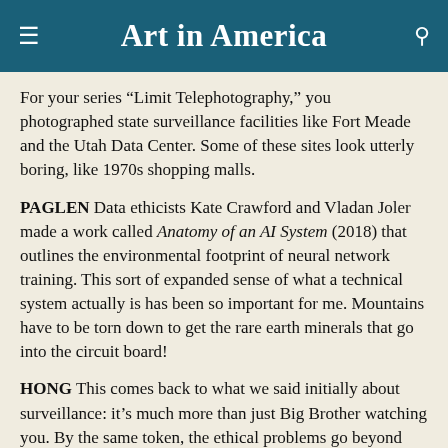Art in America
For your series “Limit Telephotography,” you photographed state surveillance facilities like Fort Meade and the Utah Data Center. Some of these sites look utterly boring, like 1970s shopping malls.
PAGLEN Data ethicists Kate Crawford and Vladan Joler made a work called Anatomy of an AI System (2018) that outlines the environmental footprint of neural network training. This sort of expanded sense of what a technical system actually is has been so important for me. Mountains have to be torn down to get the rare earth minerals that go into the circuit board!
HONG This comes back to what we said initially about surveillance: it’s much more than just Big Brother watching you. By the same token, the ethical problems go beyond